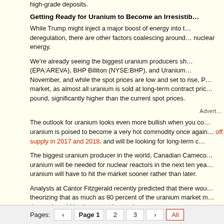high-grade deposits.
Getting Ready for Uranium to Become an Irresistib…
While Trump might inject a major boost of energy into t… deregulation, there are other factors coalescing around… nuclear energy.
We're already seeing the biggest uranium producers sh… (EPA:AREVA), BHP Billiton (NYSE:BHP), and Uranium… November, and while the spot prices are low and set to rise, P… market, as almost all uranium is sold at long-term contract pric… pound, significantly higher than the current spot prices.
Advert…
The outlook for uranium looks even more bullish when you co… uranium is poised to become a very hot commodity once again… off supply in 2017 and 2018, and will be looking for long-term c…
The biggest uranium producer in the world, Canadian Cameco… uranium will be needed for nuclear reactors in the next ten yea… uranium will have to hit the market sooner rather than later.
Analysts at Cantor Fitzgerald recently predicted that there wou… theorizing that as much as 80 percent of the uranium market m… demand would by then outstrip supply.
Pages: ‹ Page 1 2 3 › All